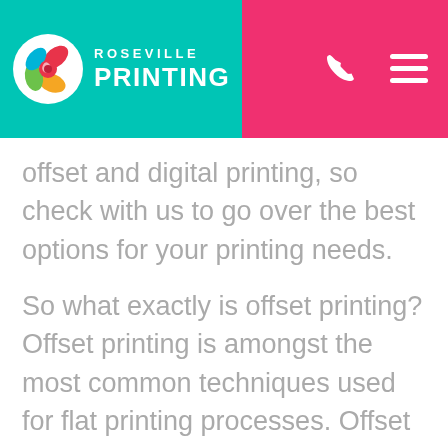Roseville Printing
offset and digital printing, so check with us to go over the best options for your printing needs.
So what exactly is offset printing? Offset printing is amongst the most common techniques used for flat printing processes. Offset printing uses a process where ink is transmitted from a plate to a rubber blanket and back to the printing surface. Offset printing is part art and part science. The offset printing process is highly technical (is the science of it), but the operator of the